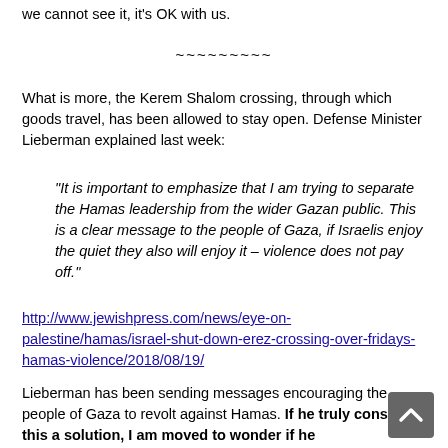we cannot see it, it's OK with us.
~~~~~~~~~
What is more, the Kerem Shalom crossing, through which goods travel, has been allowed to stay open. Defense Minister Lieberman explained last week:
“It is important to emphasize that I am trying to separate the Hamas leadership from the wider Gazan public. This is a clear message to the people of Gaza, if Israelis enjoy the quiet they also will enjoy it – violence does not pay off.”
http://www.jewishpress.com/news/eye-on-palestine/hamas/israel-shut-down-erez-crossing-over-fridays-hamas-violence/2018/08/19/
Lieberman has been sending messages encouraging the people of Gaza to revolt against Hamas. If he truly considers this a solution, I am moved to wonder if he